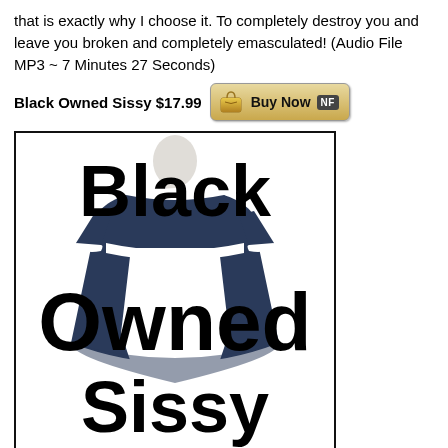that is exactly why I choose it. To completely destroy you and leave you broken and completely emasculated! (Audio File MP3 ~ 7 Minutes 27 Seconds)
Black Owned Sissy $17.99
[Figure (photo): Product image with text overlay reading 'Black Owned Sissy' over a mannequin wearing a black and white French maid outfit, displayed in a black-bordered box]